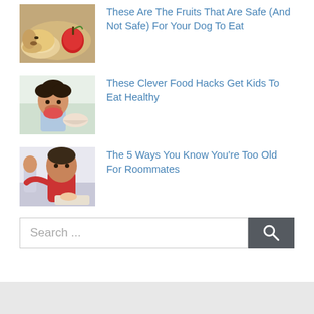[Figure (photo): Yellow Labrador puppy resting its head near a red apple on a dark surface]
These Are The Fruits That Are Safe (And Not Safe) For Your Dog To Eat
[Figure (photo): Young child with food on their face sitting at a table eating]
These Clever Food Hacks Get Kids To Eat Healthy
[Figure (photo): Two adults in a living room scene, one in red shirt appearing frustrated]
The 5 Ways You Know You're Too Old For Roommates
Search ...